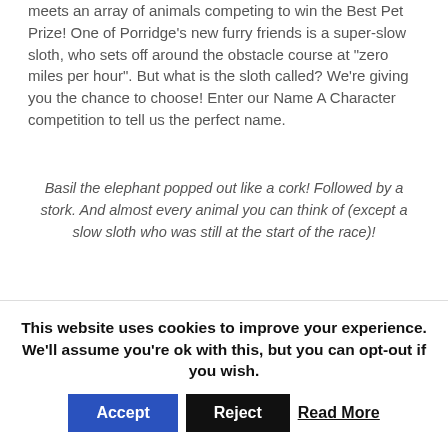meets an array of animals competing to win the Best Pet Prize! One of Porridge's new furry friends is a super-slow sloth, who sets off around the obstacle course at "zero miles per hour". But what is the sloth called? We're giving you the chance to choose! Enter our Name A Character competition to tell us the perfect name.
Basil the elephant popped out like a cork! Followed by a stork. And almost every animal you can think of (except a slow sloth who was still at the start of the race)!
[Figure (illustration): Cartoon illustration of a sloth lying on its back or hanging, with orange-brown fur and claws visible, in a comic book style with watercolor-like colors.]
This website uses cookies to improve your experience. We'll assume you're ok with this, but you can opt-out if you wish.
Accept   Reject   Read More